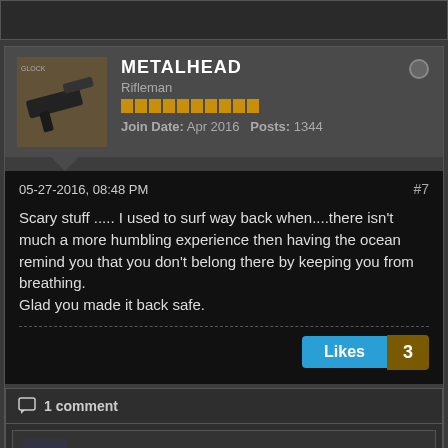METALHEAD Rifleman Join Date: Apr 2016 Posts: 1344
05-27-2016, 08:48 PM #7
Scary stuff ..... I used to surf way back when....there isn't much a more humbling experience then having the ocean remind you that you don't belong there by keeping you from breathing.
Glad you made it back safe.
Likes 3
1 comment
ZX9ALLDAY commented #7.1 05-28-2016, 04:06 AM
Haha tnx. It was more funny than anything just cause i knew i was 10yds from the shore. I couldnt picture this in happening out in montauk thats insanity.